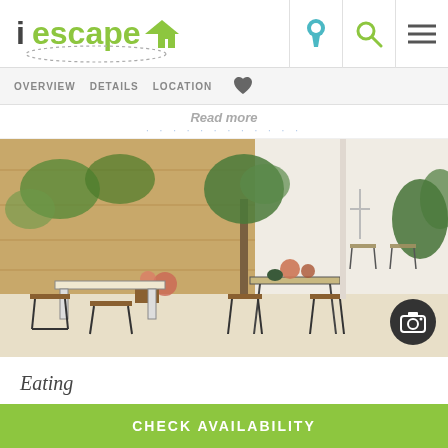[Figure (logo): iescape logo with dashed circle and house icon]
OVERVIEW   DETAILS   LOCATION
Read more
[Figure (photo): Outdoor terrace with bistro tables and chairs, stone wall with plants, olive tree, white wall]
Eating
CHECK AVAILABILITY